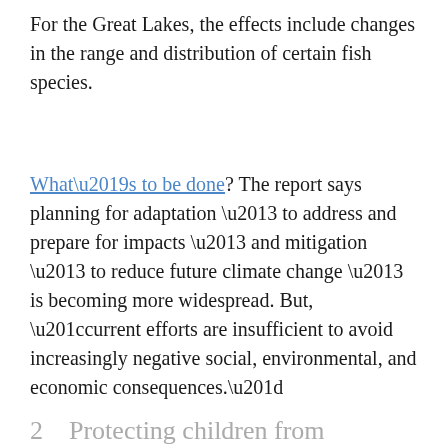For the Great Lakes, the effects include changes in the range and distribution of certain fish species.
What’s to be done? The report says planning for adaptation – to address and prepare for impacts – and mitigation – to reduce future climate change – is becoming more widespread. But, “current efforts are insufficient to avoid increasingly negative social, environmental, and economic consequences.”
2   Protecting children from